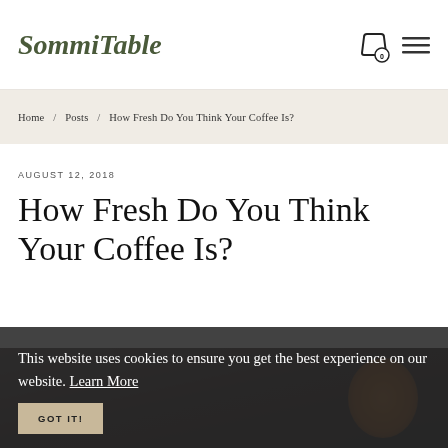SommiTable
Home / Posts / How Fresh Do You Think Your Coffee Is?
AUGUST 12, 2018
How Fresh Do You Think Your Coffee Is?
This website uses cookies to ensure you get the best experience on our website. Learn More
GOT IT!